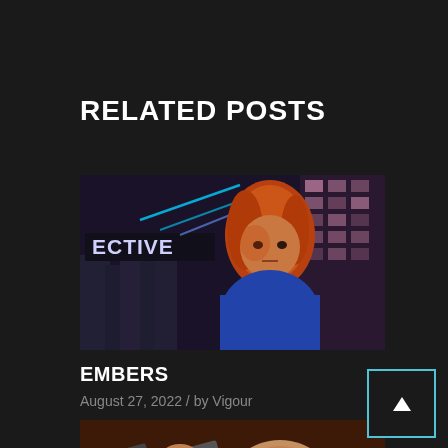RELATED POSTS
[Figure (illustration): Game artwork showing a female character with orange-red hair in a cyberpunk city setting with neon lights and the word 'ECTIVE' visible on a billboard.]
EMBERS
August 27, 2022 / by Vigour
[Figure (illustration): Game artwork showing a male character holding a weapon against a dark reddish sky with lights in the background.]